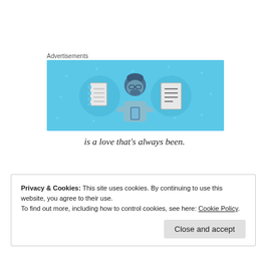Advertisements
[Figure (illustration): Blue banner advertisement showing a cartoon illustration of a person looking at a phone, flanked by two circular icons — one with a notebook and one with a lined document, on a light blue background.]
is a love that's always been.
Privacy & Cookies: This site uses cookies. By continuing to use this website, you agree to their use.
To find out more, including how to control cookies, see here: Cookie Policy
Close and accept